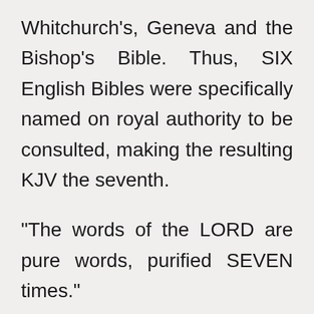Whitchurch's, Geneva and the Bishop's Bible. Thus, SIX English Bibles were specifically named on royal authority to be consulted, making the resulting KJV the seventh.

"The words of the LORD are pure words, purified SEVEN times."

But there is more.

In Daniel chapters three and four the words 'seven times' are used. In both these chapters there is a spritual